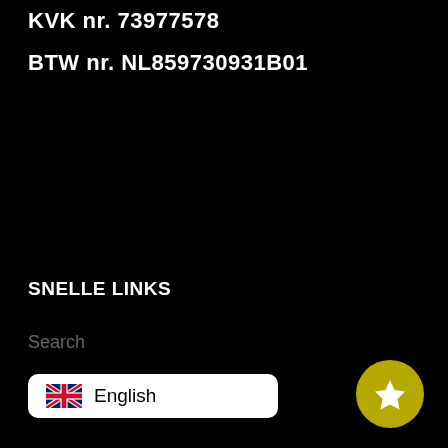KVK nr. 73977578
BTW nr. NL859730931B01
SNELLE LINKS
Search
English
[Figure (other): Yellow circular button with a white star icon in the bottom right corner]